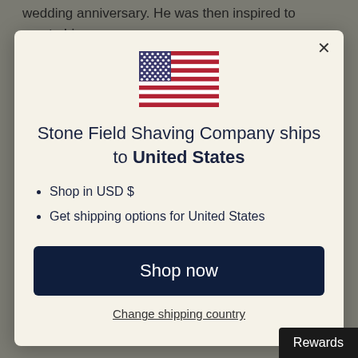wedding anniversary.  He was then inspired to create his own.
[Figure (illustration): US flag emoji / icon displayed in the modal dialog]
Stone Field Shaving Company ships to United States
Shop in USD $
Get shipping options for United States
Shop now
Change shipping country
Rewards